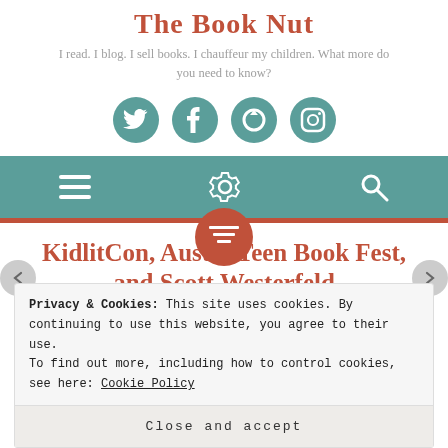The Book Nut
I read. I blog. I sell books. I chauffeur my children. What more do you need to know?
[Figure (infographic): Four circular teal social media icons: Twitter bird, Tumblr T, circular arrow (GoodReads), Instagram camera]
[Figure (screenshot): Teal navigation bar with hamburger menu icon, gear/settings icon, and search magnifying glass icon. Below a rust/terracotta colored thin bar. Center circle button with text-align icon.]
KidlitCon, Austin Teen Book Fest, and Scott Westerfeld
Privacy & Cookies: This site uses cookies. By continuing to use this website, you agree to their use.
To find out more, including how to control cookies, see here: Cookie Policy
Close and accept